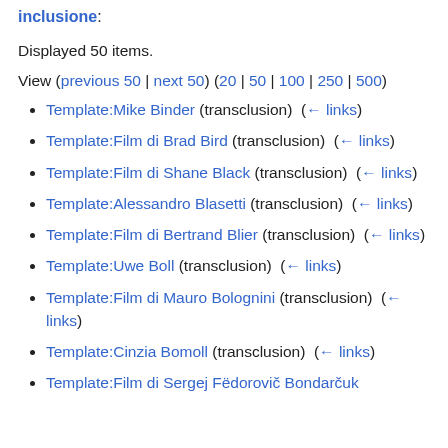inclusione:
Displayed 50 items.
View (previous 50 | next 50) (20 | 50 | 100 | 250 | 500)
Template:Mike Binder (transclusion)  (← links)
Template:Film di Brad Bird (transclusion)  (← links)
Template:Film di Shane Black (transclusion)  (← links)
Template:Alessandro Blasetti (transclusion)  (← links)
Template:Film di Bertrand Blier (transclusion)  (← links)
Template:Uwe Boll (transclusion)  (← links)
Template:Film di Mauro Bolognini (transclusion)  (← links)
Template:Cinzia Bomoll (transclusion)  (← links)
Template:Film di Sergej Fëdorovič Bondarčuk